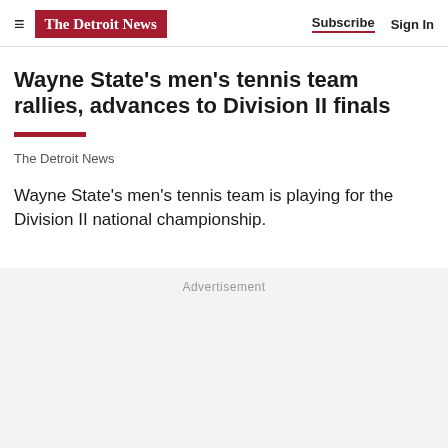≡ The Detroit News  Subscribe  Sign In
Wayne State's men's tennis team rallies, advances to Division II finals
The Detroit News
Wayne State's men's tennis team is playing for the Division II national championship.
Advertisement